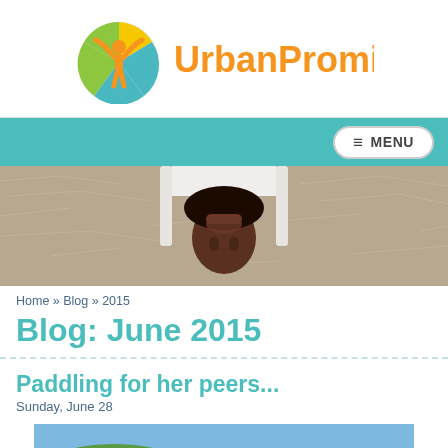[Figure (logo): UrbanPromise logo with orange figure and colorful circle, orange text 'UrbanPromise']
≡ MENU
[Figure (photo): Person lying upside down on wood chip playground surface, face visible]
Home » Blog » 2015
Blog: June 2015
Paddling for her peers...
Sunday, June 28
[Figure (photo): Outdoor landscape with green trees and hills, person visible in foreground]